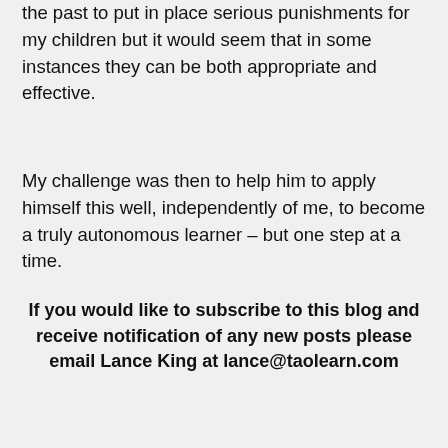the past to put in place serious punishments for my children but it would seem that in some instances they can be both appropriate and effective.
My challenge was then to help him to apply himself this well, independently of me, to become a truly autonomous learner – but one step at a time.
If you would like to subscribe to this blog and receive notification of any new posts please email Lance King at lance@taolearn.com